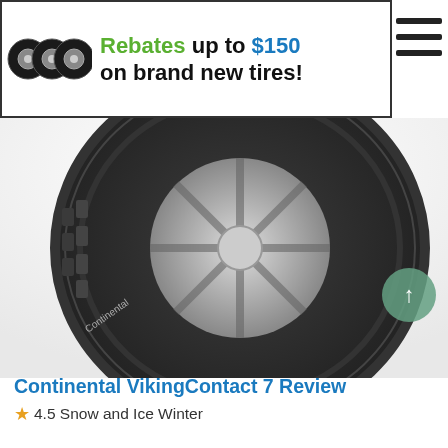[Figure (illustration): Banner showing four car tire/wheel icons on the left side]
Rebates up to $150 on brand new tires!
[Figure (photo): Continental VikingContact 7 winter tire partial image showing tread pattern and sidewall]
Continental VikingContact 7 Review
★4.5 Snow and Ice Winter
Continental VikingContact 7 is designed to deliver excellent traction in wintertime slush, snow and ice plus reliable wet performance and secure dry-road handling, the VikingContact 7 is optimized for a variety of winter weather.
Available tire sizes that fit Ford Mustang Mach-E:
225/60R18 from $205.00